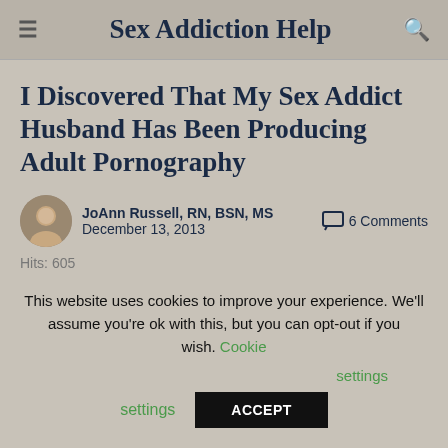Sex Addiction Help
I Discovered That My Sex Addict Husband Has Been Producing Adult Pornography
JoAnn Russell, RN, BSN, MS
December 13, 2013
6 Comments
Hits: 605
This website uses cookies to improve your experience. We'll assume you're ok with this, but you can opt-out if you wish. Cookie settings ACCEPT